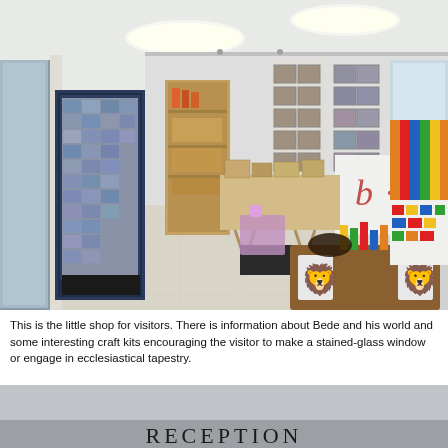[Figure (photo): Interior of a museum or heritage centre gift shop. The room has white walls and a light tile floor with oval recessed ceiling lights. Shelves and display units line the walls showing postcards, artwork, framed pictures, and souvenirs. A central trestle table holds various items. In the foreground are wooden crates and boxes filled with colourful toys and craft kits, including a wooden chest decorated with heraldic lion shields. A large glass door is visible on the left. Partially visible red lettering on a white partition reads 'b e s'.]
This is the little shop for visitors. There is information about Bede and his world and some interesting craft kits encouraging the visitor to make a stained-glass window or engage in ecclesiastical tapestry.
[Figure (photo): Partial view of a sign or board reading 'RECEPTION' in dark serif capital letters on a light grey surface, cropped at the bottom of the page.]